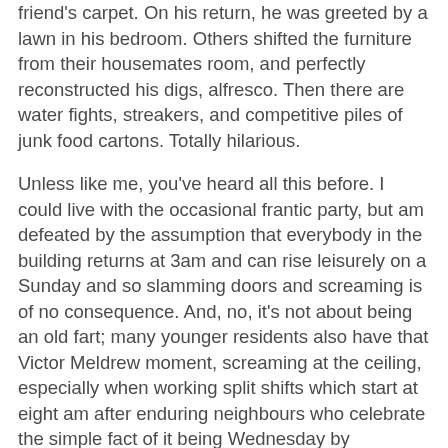friend's carpet. On his return, he was greeted by a lawn in his bedroom. Others shifted the furniture from their housemates room, and perfectly reconstructed his digs, alfresco. Then there are water fights, streakers, and competitive piles of junk food cartons. Totally hilarious.
Unless like me, you've heard all this before. I could live with the occasional frantic party, but am defeated by the assumption that everybody in the building returns at 3am and can rise leisurely on a Sunday and so slamming doors and screaming is of no consequence. And, no, it's not about being an old fart; many younger residents also have that Victor Meldrew moment, screaming at the ceiling, especially when working split shifts which start at eight am after enduring neighbours who celebrate the simple fact of it being Wednesday by screaming until seven.
Some flats, especially in those found in increasingly rare, remaining pockets of social housing, practice age selection. One block sets a limit of twenty-five. I'm not entirely sure how this works. Are residents booted out if they survive all that debauchery and reach the dreaded age of thirty, or